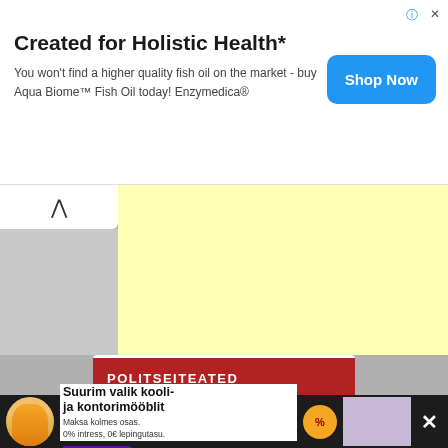[Figure (infographic): Top advertisement banner: 'Created for Holistic Health*' with text 'You won't find a higher quality fish oil on the market - buy Aqua Biome™ Fish Oil today! Enzymedica®' and a blue 'Shop Now' button. Info (i) and X close icons in top right.]
[Figure (infographic): Middle section: collapse/chevron-up button on left, large yellow (#ffffb3) panel on right, gray background.]
[Figure (infographic): Bottom section: white content card with dark red 'POLITSEITEATED' header banner. Below that, a dark overlay ad in Estonian: 'Suurim valik kooli- ja kontorimööblit. Maksa kolmes osas. 0% intress, 0€ lepingutasu. www.on24.ee' with woman in yellow sweater, office furniture image, percent badge, and X close button.]